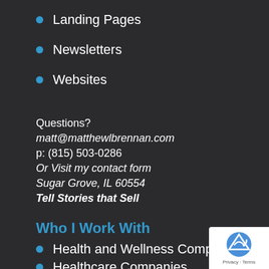Landing Pages
Newsletters
Websites
Questions?
matt@matthewlbrennan.com
p: (815) 503-0286
Or Visit my contact form
Sugar Grove, IL 60554
Tell Stories that Sell
Who I Work With
Health and Wellness Companies
Healthcare Companies